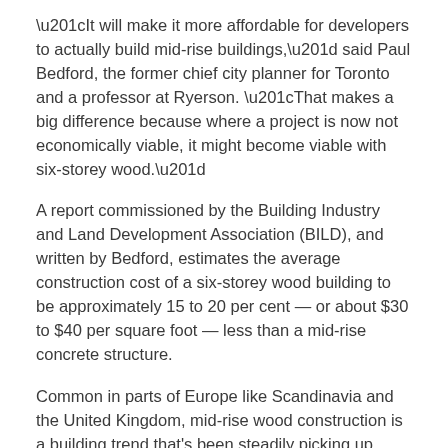“It will make it more affordable for developers to actually build mid-rise buildings,” said Paul Bedford, the former chief city planner for Toronto and a professor at Ryerson. “That makes a big difference because where a project is now not economically viable, it might become viable with six-storey wood.”
A report commissioned by the Building Industry and Land Development Association (BILD), and written by Bedford, estimates the average construction cost of a six-storey wood building to be approximately 15 to 20 per cent — or about $30 to $40 per square foot — less than a mid-rise concrete structure.
Common in parts of Europe like Scandinavia and the United Kingdom, mid-rise wood construction is a building trend that’s been steadily picking up steam globally, and regulators in Canada are increasingly looking to permit taller wood structures.
[Figure (photo): Close-up photograph of wood grain texture or wooden building material, showing natural wood patterns in warm brown tones.]